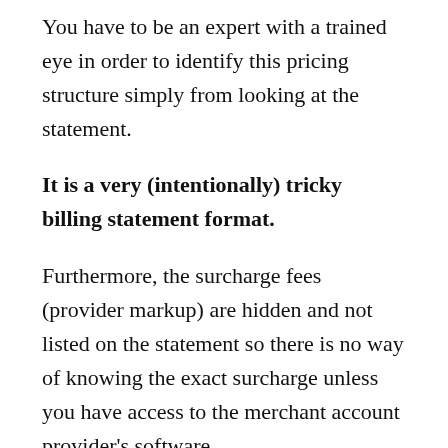You have to be an expert with a trained eye in order to identify this pricing structure simply from looking at the statement.
It is a very (intentionally) tricky billing statement format.
Furthermore, the surcharge fees (provider markup) are hidden and not listed on the statement so there is no way of knowing the exact surcharge unless you have access to the merchant account provider's software.
Assuming that it is very difficult to get this